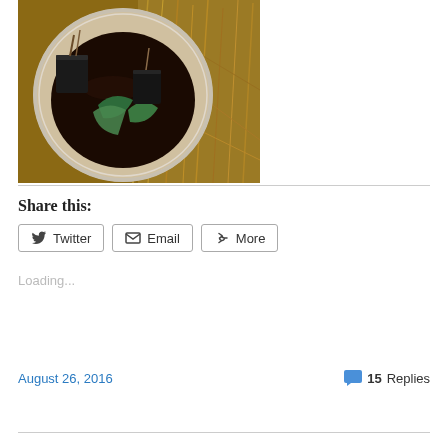[Figure (photo): A bucket or container filled with dark liquid (tea/compost tea), with seedlings in small black pots and what appears to be green material, surrounded by dry straw/hay on the ground, photographed from above outdoors.]
Share this:
Twitter  Email  More
Loading...
August 26, 2016
15 Replies